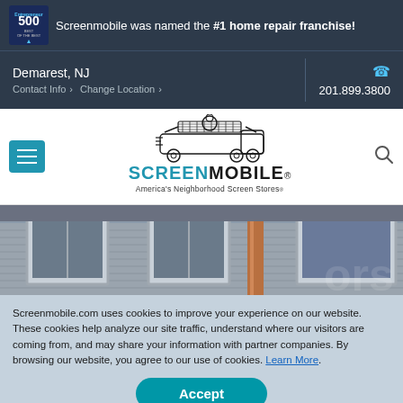Screenmobile was named the #1 home repair franchise!
Demarest, NJ
Contact Info › Change Location ›
201.899.3800
[Figure (logo): Screenmobile logo with truck graphic and tagline America's Neighborhood Screen Stores]
[Figure (photo): Exterior of house showing windows with screens installed]
Screenmobile.com uses cookies to improve your experience on our website. These cookies help analyze our site traffic, understand where our visitors are coming from, and may share your information with partner companies. By browsing our website, you agree to our use of cookies. Learn More.